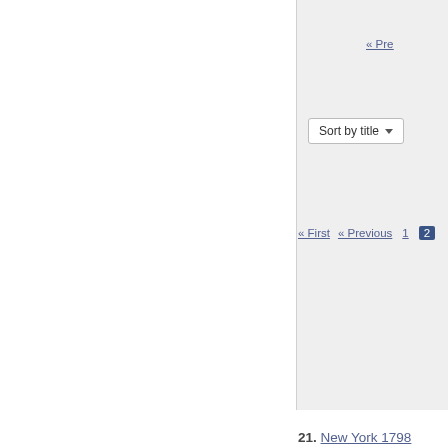« Prev
Sort by title ▾
« First  « Previous  1  2
21. New York 1798 Governo…
Office: Governor
Jurisdiction: State
Year: 1798
State: New York
22. New York 1798 State S…